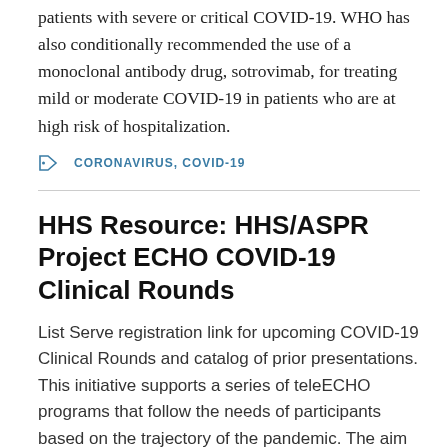The first drug, baricitinib, is strongly recommended for patients with severe or critical COVID-19. WHO has also conditionally recommended the use of a monoclonal antibody drug, sotrovimab, for treating mild or moderate COVID-19 in patients who are at high risk of hospitalization.
CORONAVIRUS, COVID-19
HHS Resource: HHS/ASPR Project ECHO COVID-19 Clinical Rounds
List Serve registration link for upcoming COVID-19 Clinical Rounds and catalog of prior presentations. This initiative supports a series of teleECHO programs that follow the needs of participants based on the trajectory of the pandemic. The aim is to create peer-